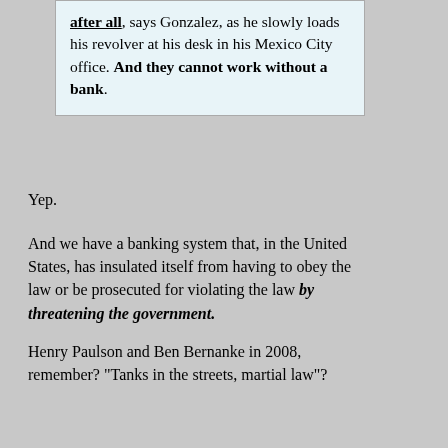after all, says Gonzalez, as he slowly loads his revolver at his desk in his Mexico City office. And they cannot work without a bank.
Yep.
And we have a banking system that, in the United States, has insulated itself from having to obey the law or be prosecuted for violating the law by threatening the government.
Henry Paulson and Ben Bernanke in 2008, remember?  "Tanks in the streets, martial law"?